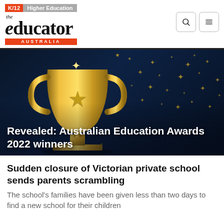K/12 | Higher Education
[Figure (logo): The Educator Australia logo with red K/12 and grey Higher Education navigation tags above, large serif logotype, and orange AUSTRALIA banner below]
[Figure (photo): Dark blue background with gold stars and a golden trophy award, with white bold text overlay reading: Revealed: Australian Education Awards 2022 winners]
Revealed: Australian Education Awards 2022 winners
Sudden closure of Victorian private school sends parents scrambling
The school's families have been given less than two days to find a new school for their children